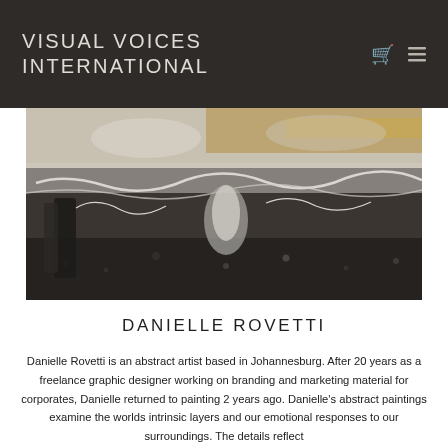VISUAL VOICES INTERNATIONAL
[Figure (photo): Abstract painting showing layered textures in black, white, grey, and gold tones, resembling geological or organic formations with cracked and raised surface details.]
DANIELLE ROVETTI
Danielle Rovetti is an abstract artist based in Johannesburg. After 20 years as a freelance graphic designer working on branding and marketing material for corporates, Danielle returned to painting 2 years ago. Danielle's abstract paintings examine the worlds intrinsic layers and our emotional responses to our surroundings. The details reflect